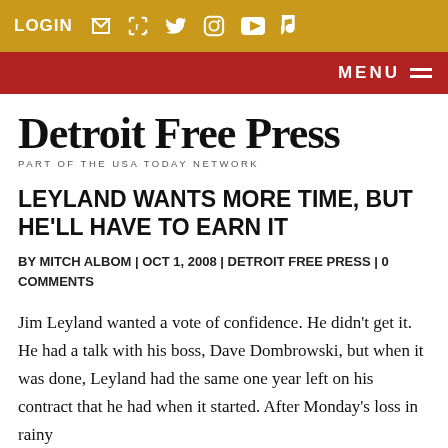LOGIN  [cart] [facebook] [twitter] [instagram] [youtube] [tiktok]
MENU
[Figure (logo): Detroit Free Press masthead logo in blackletter font with tagline PART OF THE USA TODAY NETWORK]
LEYLAND WANTS MORE TIME, BUT HE'LL HAVE TO EARN IT
BY MITCH ALBOM | OCT 1, 2008 | DETROIT FREE PRESS | 0 COMMENTS
Jim Leyland wanted a vote of confidence. He didn't get it. He had a talk with his boss, Dave Dombrowski, but when it was done, Leyland had the same one year left on his contract that he had when it started. After Monday's loss in rainy